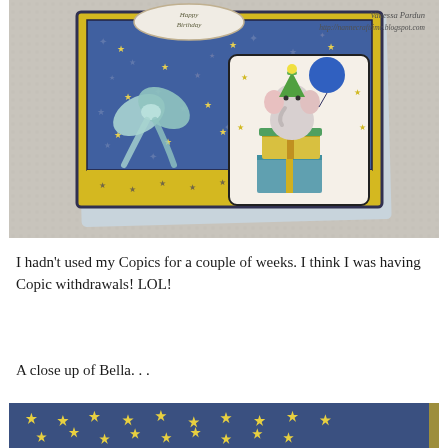[Figure (photo): A handmade birthday greeting card featuring a cute elephant character (Bella) wearing a party hat, sitting atop stacked gift boxes, holding a blue balloon. The card has yellow and blue patterned background with stars, a mint green bow ribbon on the left side, and a decorative oval sentiment label at the top. The card is photographed on a white textured knit fabric background. Watermark reads: Vanessa Pardun, http://nannecrafttime.blogspot.com]
I hadn't used my Copics for a couple of weeks.  I think I was having Copic withdrawals!  LOL!
A close up of Bella. . .
[Figure (photo): Bottom strip showing a close-up of blue patterned paper with yellow star motifs, partially visible at the bottom of the page.]